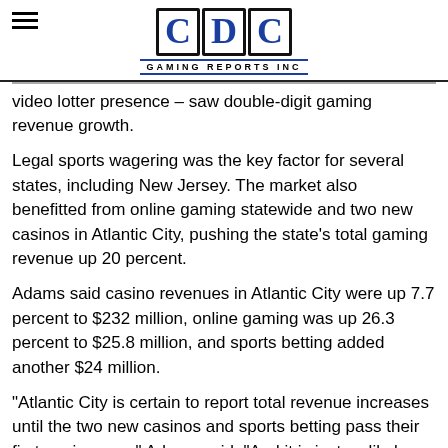CDC GAMING REPORTS INC
video lotter presence – saw double-digit gaming revenue growth.
Legal sports wagering was the key factor for several states, including New Jersey. The market also benefitted from online gaming statewide and two new casinos in Atlantic City, pushing the state's total gaming revenue up 20 percent.
Adams said casino revenues in Atlantic City were up 7.7 percent to $232 million, online gaming was up 26.3 percent to $25.8 million, and sports betting added another $24 million.
“Atlantic City is certain to report total revenue increases until the two new casinos and sports betting pass their first anniversary,” Adams said. “And it is just as likely that the